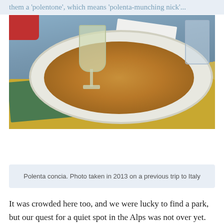them a 'polentone', which means 'polenta-munching nick'...
[Figure (photo): A plate of polenta concia on a yellow placemat with a glass of white wine, photographed at a restaurant table. Photo taken in 2013 on a previous trip to Italy.]
Polenta concia. Photo taken in 2013 on a previous trip to Italy
It was crowded here too, and we were lucky to find a park, but our quest for a quiet spot in the Alps was not over yet.